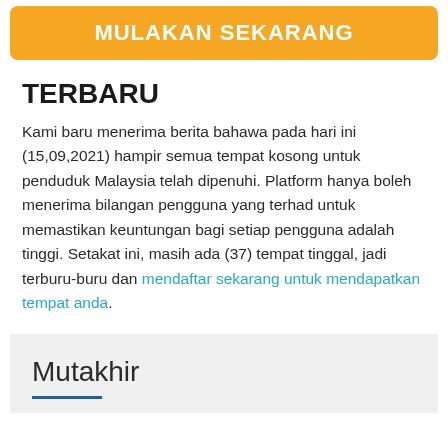MULAKAN SEKARANG
TERBARU
Kami baru menerima berita bahawa pada hari ini (15,09,2021) hampir semua tempat kosong untuk penduduk Malaysia telah dipenuhi. Platform hanya boleh menerima bilangan pengguna yang terhad untuk memastikan keuntungan bagi setiap pengguna adalah tinggi. Setakat ini, masih ada (37) tempat tinggal, jadi terburu-buru dan mendaftar sekarang untuk mendapatkan tempat anda.
Mutakhir